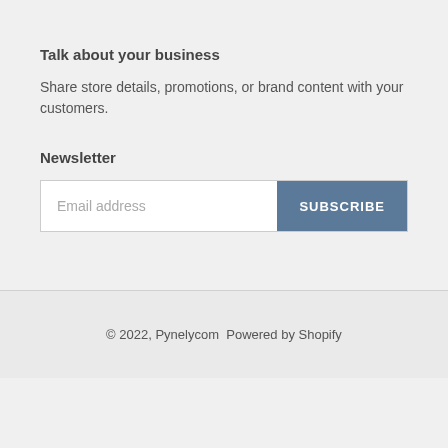Talk about your business
Share store details, promotions, or brand content with your customers.
Newsletter
Email address | SUBSCRIBE
© 2022, Pynelycom  Powered by Shopify